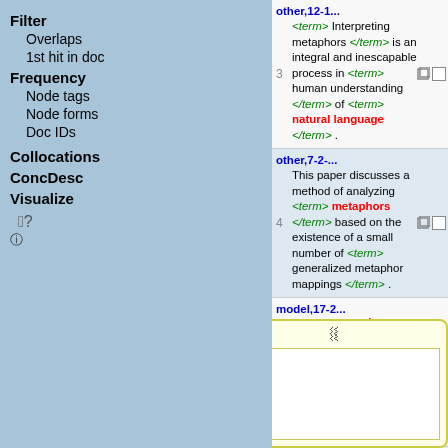Filter
Overlaps
1st hit in doc
Frequency
Node tags
Node forms
Doc IDs
Collocations
ConcDesc
Visualize
Menu position
other,12-1... <term> Interpreting metaphors </term> is an integral and inescapable process in <term> human understanding </term> of <term> natural language </term> . [row 3]
other,7-2-... This paper discusses a method of analyzing <term> metaphors </term> based on the existence of a small number of <term> generalized metaphor mappings </term> . [row 4]
model,17-2... This paper discusses a method of analyzing <term> metaphors </term> based on the existence of a small number of <term> generalized metaphor mappings </term> [row 5]